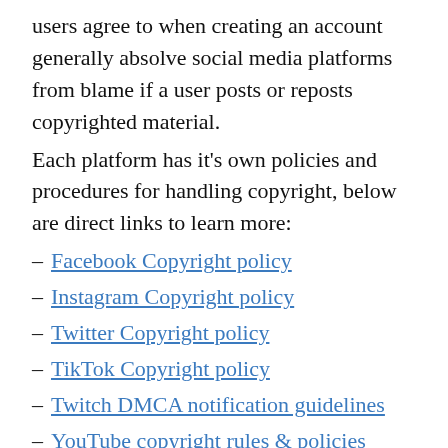users agree to when creating an account generally absolve social media platforms from blame if a user posts or reposts copyrighted material.
Each platform has it's own policies and procedures for handling copyright, below are direct links to learn more:
Facebook Copyright policy
Instagram Copyright policy
Twitter Copyright policy
TikTok Copyright policy
Twitch DMCA notification guidelines
YouTube copyright rules & policies